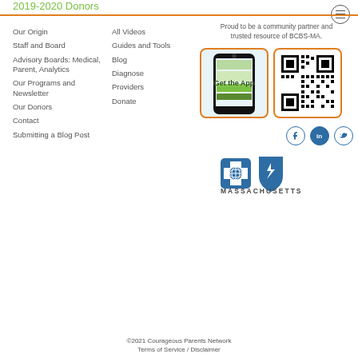2019-2020 Donors
Our Origin
Staff and Board
Advisory Boards: Medical, Parent, Analytics
Our Programs and Newsletter
Our Donors
Contact
Submitting a Blog Post
All Videos
Guides and Tools
Blog
Diagnose
Providers
Donate
Proud to be a community partner and trusted resource of BCBS-MA.
[Figure (screenshot): Smartphone showing app interface with 'Get the App' label overlay]
[Figure (other): QR code in orange-bordered box]
[Figure (logo): Blue Cross Blue Shield Massachusetts logo with MASSACHUSETTS text]
©2021 Courageous Parents Network
Terms of Service / Disclaimer